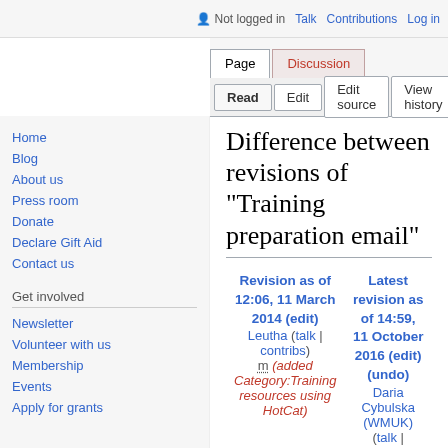Not logged in  Talk  Contributions  Log in
Page | Discussion
Read | Edit | Edit source | View history
Difference between revisions of "Training preparation email"
Revision as of 12:06, 11 March 2014 (edit)
Leutha (talk | contribs)
m (added Category:Training resources using HotCat)
Latest revision as of 14:59, 11 October 2016 (edit) (undo)
Daria Cybulska (WMUK) (talk | contribs)
m (cat)
← Older edit
Home
Blog
About us
Press room
Donate
Declare Gift Aid
Contact us
Get involved
Newsletter
Volunteer with us
Membership
Events
Apply for grants